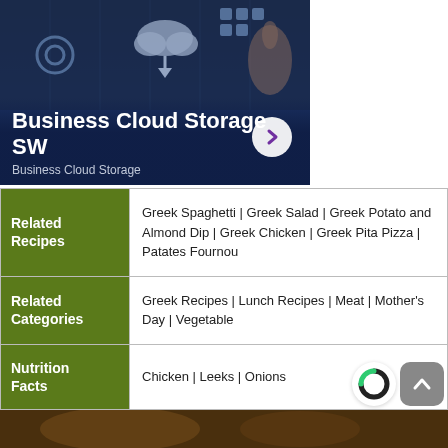[Figure (photo): Dark blue tech banner with cloud storage icons and a hand touching a cloud icon. Title overlay: 'Business Cloud Storage SW' with subtitle 'Business Cloud Storage' and a circular arrow button.]
Business Cloud Storage SW
Business Cloud Storage
| Label | Value |
| --- | --- |
| Related Recipes | Greek Spaghetti | Greek Salad | Greek Potato and Almond Dip | Greek Chicken | Greek Pita Pizza | Patates Fournou |
| Related Categories | Greek Recipes | Lunch Recipes | Meat | Mother's Day | Vegetable |
| Nutrition Facts | Chicken | Leeks | Onions |
[Figure (logo): Circular logo with green and dark segments (C shape)]
[Figure (other): Gray rounded square button with upward arrow icon]
[Figure (photo): Bottom strip showing a partial food/person image in warm brown tones]